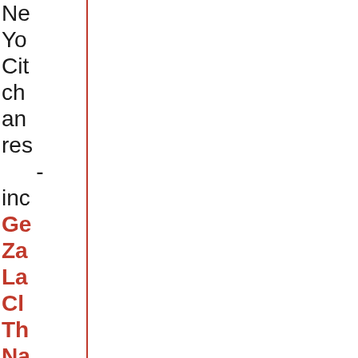Ne
Yo
Cit
ch
an
res
-
inc
Ge
Za
La
Cl
Th
Na
ST
Fiq
&
Ol
Le